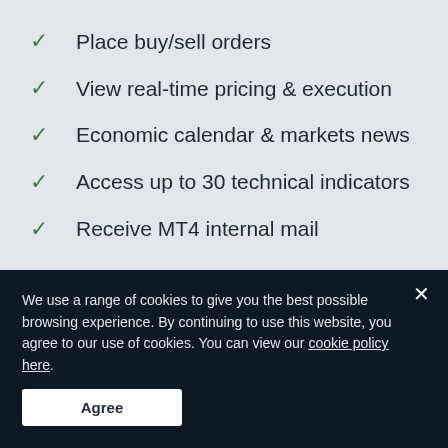Place buy/sell orders
View real-time pricing & execution
Economic calendar & markets news
Access up to 30 technical indicators
Receive MT4 internal mail
We use a range of cookies to give you the best possible browsing experience. By continuing to use this website, you agree to our use of cookies. You can view our cookie policy here.